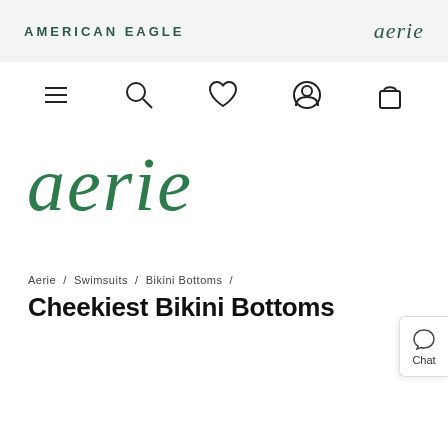AMERICAN EAGLE / aerie
[Figure (screenshot): Navigation icon bar with hamburger menu, search, heart/wishlist, account, and bag icons]
[Figure (logo): Aerie script logo in dark green, large centered]
Aerie / Swimsuits / Bikini Bottoms /
Cheekiest Bikini Bottoms